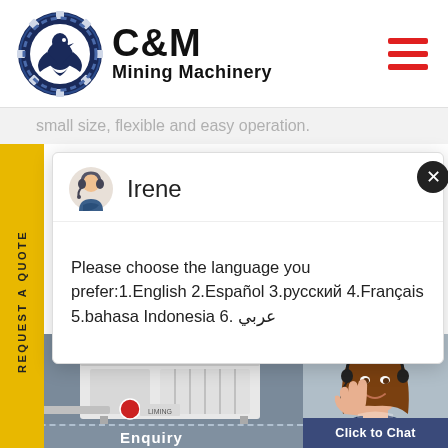[Figure (logo): C&M Mining Machinery logo with eagle/gear emblem and company name]
small size, flexible and easy operation.
[Figure (screenshot): Chat popup with agent Irene asking to choose language: 1.English 2.Español 3.русский 4.Français 5.bahasa Indonesia 6. عربي]
[Figure (photo): Mining machinery equipment photo on left and customer service agent on right with Click to Chat button and Enquiry strip]